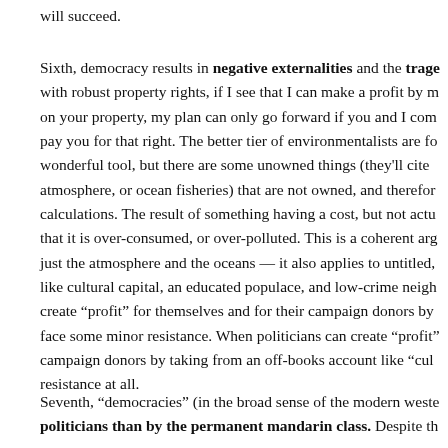will succeed.
Sixth, democracy results in negative externalities and the trage... with robust property rights, if I see that I can make a profit by m... on your property, my plan can only go forward if you and I com... pay you for that right. The better tier of environmentalists are fo... wonderful tool, but there are some unowned things (they'll cite ... atmosphere, or ocean fisheries) that are not owned, and therefor... calculations. The result of something having a cost, but not actu... that it is over-consumed, or over-polluted. This is a coherent arg... just the atmosphere and the oceans — it also applies to untitled,... like cultural capital, an educated populace, and low-crime neigh... create "profit" for themselves and for their campaign donors by... face some minor resistance. When politicians can create "profit"... campaign donors by taking from an off-books account like "cul... resistance at all.
Seventh, "democracies" (in the broad sense of the modern weste... politicians than by the permanent mandarin class. Despite th...